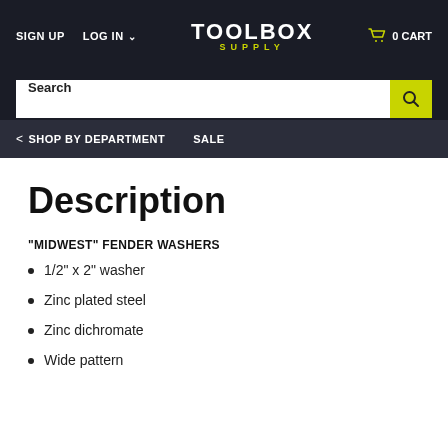SIGN UP  LOG IN  TOOLBOX SUPPLY  0 CART
SHOP BY DEPARTMENT  SALE
Description
"MIDWEST" FENDER WASHERS
1/2" x 2"  washer
Zinc plated steel
Zinc dichromate
Wide pattern